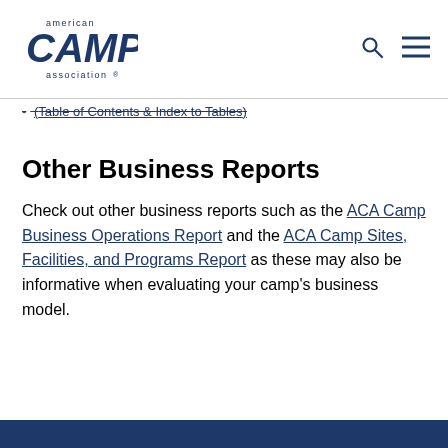american camp association
(Table of Contents & Index to Tables)
Other Business Reports
Check out other business reports such as the ACA Camp Business Operations Report and the ACA Camp Sites, Facilities, and Programs Report as these may also be informative when evaluating your camp's business model.